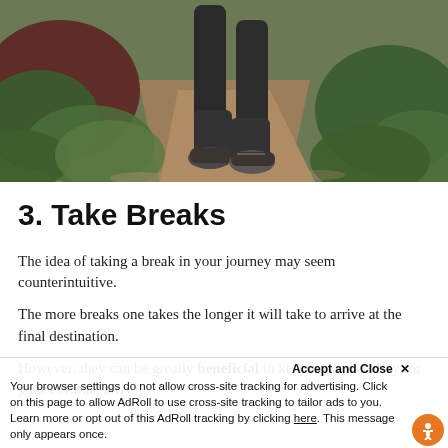[Figure (photo): Person walking on a dirt trail path surrounded by green foliage and plants, only legs and feet visible, wearing dark jeans and sneakers]
3. Take Breaks
The idea of taking a break in your journey may seem counterintuitive.
The more breaks one takes the longer it will take to arrive at the final destination.
However, they can be greatly beneficial in keeping you healthy for your eventual arrival.
Accept and Close ×
Your browser settings do not allow cross-site tracking for advertising. Click on this page to allow AdRoll to use cross-site tracking to tailor ads to you. Learn more or opt out of this AdRoll tracking by clicking here. This message only appears once.